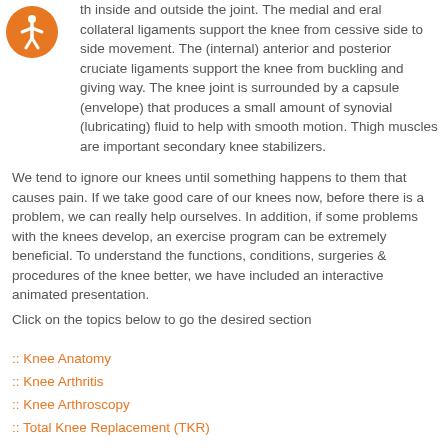[Figure (illustration): Orange accessibility icon circle with person symbol]
th inside and outside the joint. The medial and eral collateral ligaments support the knee from cessive side to side movement. The (internal) anterior and posterior cruciate ligaments support the knee from buckling and giving way. The knee joint is surrounded by a capsule (envelope) that produces a small amount of synovial (lubricating) fluid to help with smooth motion. Thigh muscles are important secondary knee stabilizers.
We tend to ignore our knees until something happens to them that causes pain. If we take good care of our knees now, before there is a problem, we can really help ourselves. In addition, if some problems with the knees develop, an exercise program can be extremely beneficial. To understand the functions, conditions, surgeries & procedures of the knee better, we have included an interactive animated presentation.
Click on the topics below to go the desired section
:: Knee Anatomy
:: Knee Arthritis
:: Knee Arthroscopy
:: Total Knee Replacement (TKR)